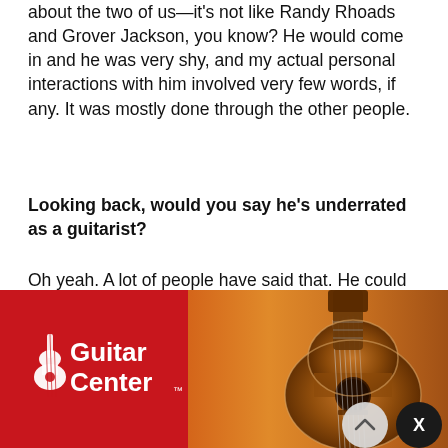about the two of us—it's not like Randy Rhoads and Grover Jackson, you know? He would come in and he was very shy, and my actual personal interactions with him involved very few words, if any. It was mostly done through the other people.
Looking back, would you say he's underrated as a guitarist?
Oh yeah. A lot of people have said that. He could play some jazzy lines. He didn't just shred. He could play lines that really fit and enhanced the tunes, which is the essence of being musical, rather than just being a wanker. Different tones—I don't think there was anybody that ever did the funky rhythm better than him. And then his leads, they were inventive. Everybody has influences that y... know?... ert King a... lf, and Prince was like that, too. I would say he's very underrated,
[Figure (other): Guitar Center advertisement banner with red background, Guitar Center logo on left, and acoustic guitar image on right]